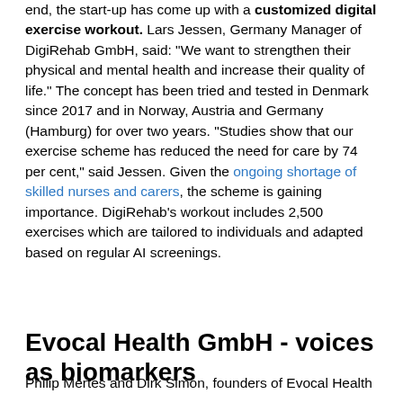end, the start-up has come up with a customized digital exercise workout. Lars Jessen, Germany Manager of DigiRehab GmbH, said: "We want to strengthen their physical and mental health and increase their quality of life." The concept has been tried and tested in Denmark since 2017 and in Norway, Austria and Germany (Hamburg) for over two years. "Studies show that our exercise scheme has reduced the need for care by 74 per cent," said Jessen. Given the ongoing shortage of skilled nurses and carers, the scheme is gaining importance. DigiRehab's workout includes 2,500 exercises which are tailored to individuals and adapted based on regular AI screenings.
Evocal Health GmbH - voices as biomarkers
Philip Mertes and Dirk Simon, founders of Evocal Health